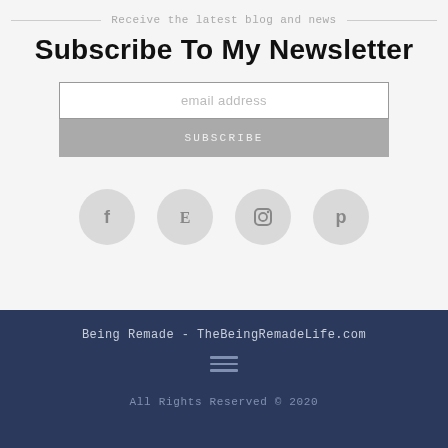Receive the latest blog and news
Subscribe To My Newsletter
email address
SUBSCRIBE
[Figure (infographic): Four social media icons in grey circles: Facebook (f), Etsy (E), Instagram (camera), Pinterest (p)]
Being Remade - TheBeingRemadeLife.com
All Rights Reserved © 2020